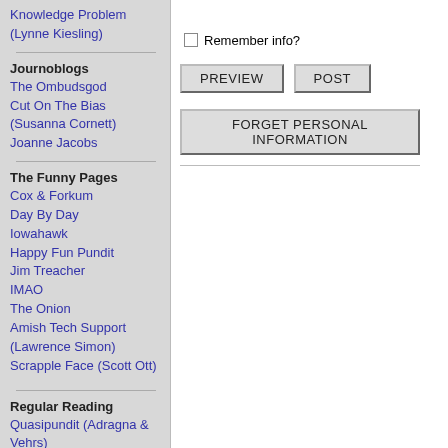Knowledge Problem (Lynne Kiesling)
Journoblogs
The Ombudsgod
Cut On The Bias (Susanna Cornett)
Joanne Jacobs
The Funny Pages
Cox & Forkum
Day By Day
Iowahawk
Happy Fun Pundit
Jim Treacher
IMAO
The Onion
Amish Tech Support (Lawrence Simon)
Scrapple Face (Scott Ott)
Regular Reading
Quasipundit (Adragna & Vehrs)
England's Sword (Iain Murray)
Daily Pundit (Bill Quick)